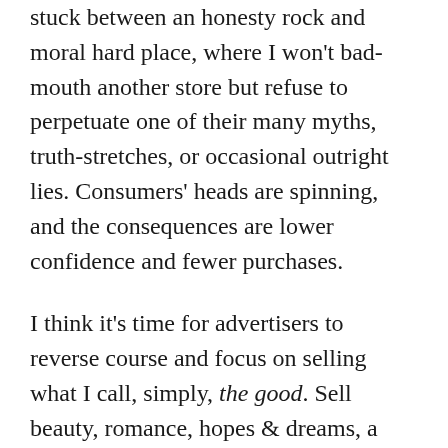stuck between an honesty rock and moral hard place, where I won't bad-mouth another store but refuse to perpetuate one of their many myths, truth-stretches, or occasional outright lies. Consumers' heads are spinning, and the consequences are lower confidence and fewer purchases.
I think it's time for advertisers to reverse course and focus on selling what I call, simply, the good. Sell beauty, romance, hopes & dreams, a lifestyle, a destination. Sell my customers on individuality, unique style, stunning color, attainable quality, and above all, sell them value. In doing so, your rising tide will lift all boats, allowing the entire industry to reclaim its previous place as worthy of